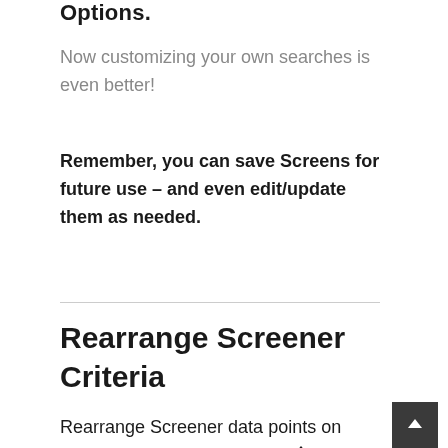Options.
Now customizing your own searches is even better!
Remember, you can save Screens for future use – and even edit/update them as needed.
Rearrange Screener Criteria
Rearrange Screener data points on the Results page by clicking